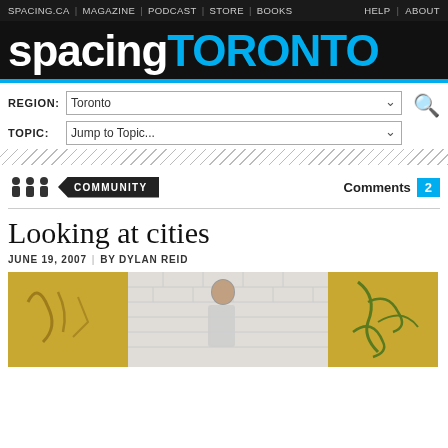SPACING.CA | MAGAZINE | PODCAST | STORE | BOOKS    HELP | ABOUT
spacingTORONTO
REGION: Toronto   TOPIC: Jump to Topic...
[Figure (other): People (community) icon and COMMUNITY badge label, with Comments 2 counter on the right]
Looking at cities
JUNE 19, 2007 | BY DYLAN REID
[Figure (photo): A man in a white shirt walking past a yellow wall with graffiti and white brick, viewed from the side with head bowed]